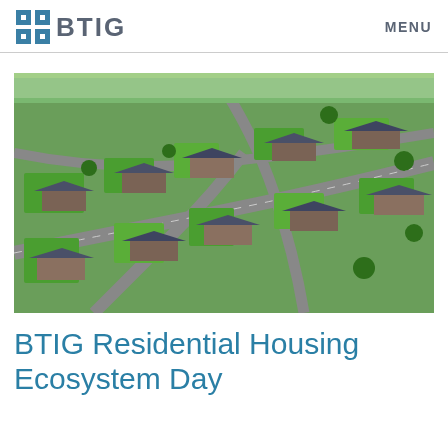BTIG | MENU
[Figure (photo): Aerial view of a residential suburban neighborhood with houses, green lawns, and curved streets]
BTIG Residential Housing Ecosystem Day